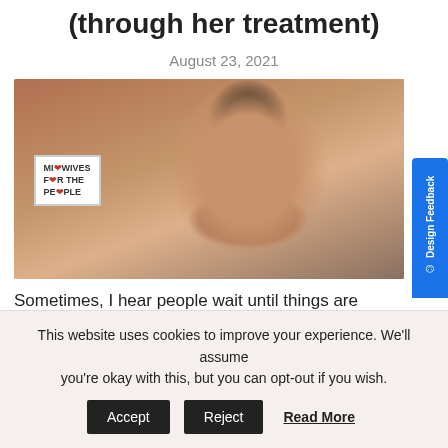(through her treatment)
August 23, 2021
[Figure (photo): Smiling woman on a video call in front of a brick wall, with a 'Midwives for the People' sign visible in the background.]
Sometimes, I hear people wait until things are “perfect” to grow their business. But what if it’s in
This website uses cookies to improve your experience. We'll assume you're okay with this, but you can opt-out if you wish.